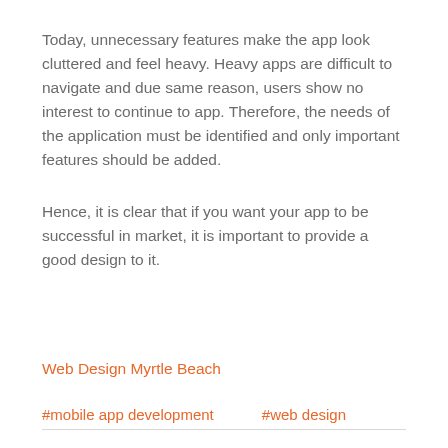Today, unnecessary features make the app look cluttered and feel heavy. Heavy apps are difficult to navigate and due same reason, users show no interest to continue to app. Therefore, the needs of the application must be identified and only important features should be added.
Hence, it is clear that if you want your app to be successful in market, it is important to provide a good design to it.
Web Design Myrtle Beach
#mobile app development    #web design